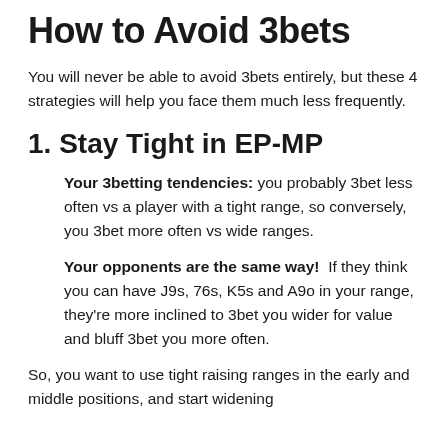How to Avoid 3bets
You will never be able to avoid 3bets entirely, but these 4 strategies will help you face them much less frequently.
1. Stay Tight in EP-MP
Your 3betting tendencies: you probably 3bet less often vs a player with a tight range, so conversely, you 3bet more often vs wide ranges.
Your opponents are the same way! If they think you can have J9s, 76s, K5s and A9o in your range, they're more inclined to 3bet you wider for value and bluff 3bet you more often.
So, you want to use tight raising ranges in the early and middle positions, and start widening